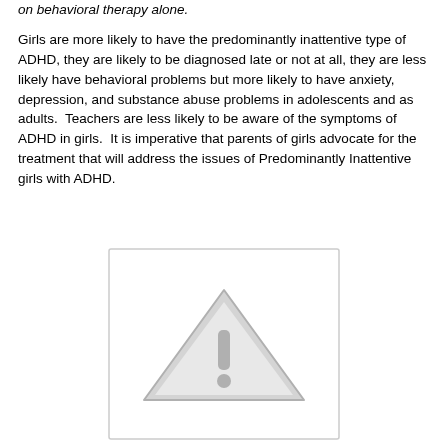on behavioral therapy alone.
Girls are more likely to have the predominantly inattentive type of ADHD, they are likely to be diagnosed late or not at all, they are less likely have behavioral problems but more likely to have anxiety, depression, and substance abuse problems in adolescents and as adults.  Teachers are less likely to be aware of the symptoms of ADHD in girls.  It is imperative that parents of girls advocate for the treatment that will address the issues of Predominantly Inattentive girls with ADHD.
[Figure (illustration): A warning/caution triangle icon with an exclamation mark, rendered in light gray, centered within a light gray bordered rectangle.]